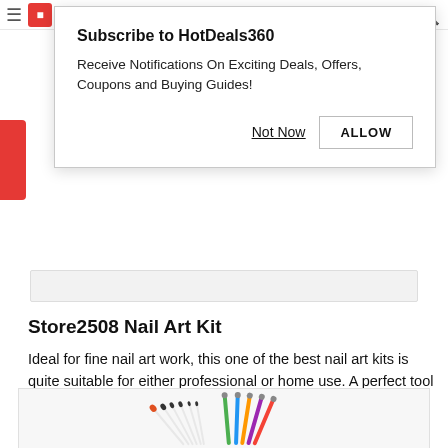≡  [logo icon]  sh [search icon]
[Figure (screenshot): Browser notification popup modal: 'Subscribe to HotDeals360 — Receive Notifications On Exciting Deals, Offers, Coupons and Buying Guides!' with buttons 'Not Now' and 'ALLOW']
Store2508 Nail Art Kit
Ideal for fine nail art work, this one of the best nail art kits is quite suitable for either professional or home use. A perfect tool for the ladies who love to give their nails the best makeover ever this nail art kit ought to be their choice.
[Figure (photo): Nail art brush kit with multiple brushes and dotting tools fanned out, showing colorful handled dotting pens and white handled brushes]